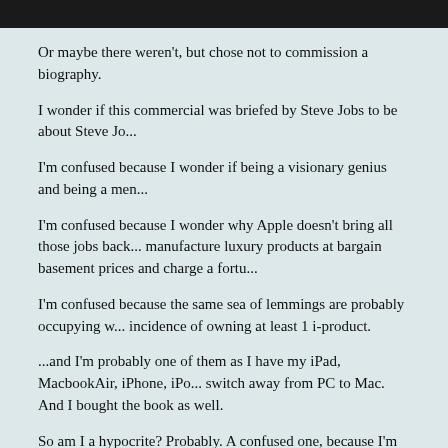[Figure (photo): Dark black and white photo strip at the top of the page]
Or maybe there weren't, but chose not to commission a biography.
I wonder if this commercial was briefed by Steve Jobs to be about Steve Jo...
I'm confused because I wonder if being a visionary genius and being a men...
I'm confused because I wonder why Apple doesn't bring all those jobs back... manufacture luxury products at bargain basement prices and charge a fortu...
I'm confused because the same sea of lemmings are probably occupying w... incidence of owning at least 1 i-product.
...and I'm probably one of them as I have my iPad, MacbookAir, iPhone, iPo... switch away from PC to Mac. And I bought the book as well.
So am I a hypocrite? Probably. A confused one, because I'm not sure if it's f... - or at the very minimum, a person's private life with their business leadersh...
Was Steve Jobs a right ole meanie? Most likely, but the people around him... public displays of displeasure with pride. The honor of getting to work with a...
So is all of this irrelevant? At the end of the day, isn't it just about manufactu... products? Perhaps and perhaps not. The world is certainly blurring and you... separating the products the buy from the companies' ethics, morals and bus...
Personally, I will choose to divide Steve Jobs the man, CEO, business lead...